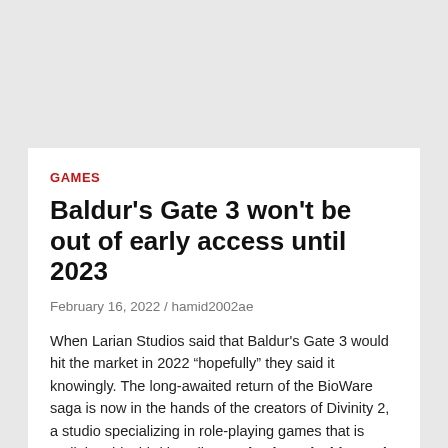GAMES
Baldur's Gate 3 won't be out of early access until 2023
February 16, 2022 / hamid2002ae
When Larian Studios said that Baldur's Gate 3 would hit the market in 2022 “hopefully” they said it knowingly. The long-awaited return of the BioWare saga is now in the hands of the creators of Divinity 2, a studio specializing in role-playing games that is outlining this third installment slowly and with good lyrics. In a press release, the founder and director of the video game, Swen Vincke, has confirmed that the title will not leave its early access until 2023.